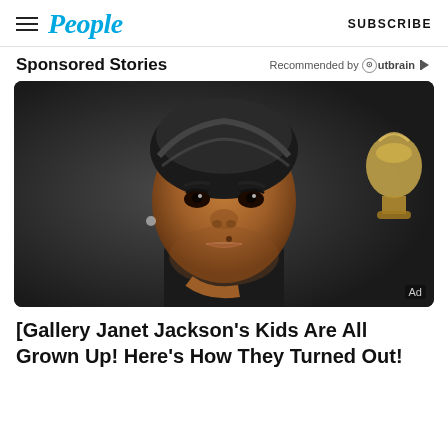People | SUBSCRIBE
Sponsored Stories
Recommended by Outbrain
[Figure (photo): Close-up photo of a woman wearing a black head wrap, smiling, with a Grammy award visible in the background. Ad label in bottom right corner.]
[Gallery Janet Jackson's Kids Are All Grown Up! Here's How They Turned Out!